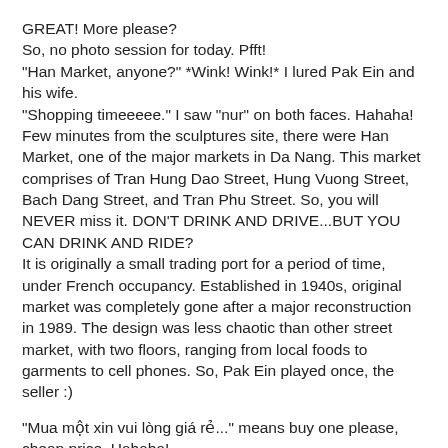GREAT! More please?
So, no photo session for today. Pfft!
"Han Market, anyone?" *Wink! Wink!* I lured Pak Ein and his wife.
"Shopping timeeeee." I saw "nur" on both faces. Hahaha!
Few minutes from the sculptures site, there were Han Market, one of the major markets in Da Nang. This market comprises of Tran Hung Dao Street, Hung Vuong Street, Bach Dang Street, and Tran Phu Street. So, you will NEVER miss it. DON'T DRINK AND DRIVE...BUT YOU CAN DRINK AND RIDE?
It is originally a small trading port for a period of time, under French occupancy. Established in 1940s, original market was completely gone after a major reconstruction in 1989. The design was less chaotic than other street market, with two floors, ranging from local foods to garments to cell phones. So, Pak Ein played once, the seller :)

"Mua một xin vui lòng giá rẻ..." means buy one please, cheap price. Hahaha!

Dissimilar to Con Market, the largest outdoor market in Da Nang, this market is less noisy, BUT STILL, smelly,